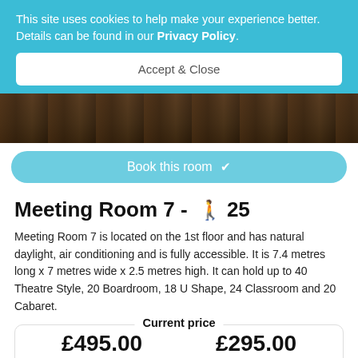This site uses cookies to help make your experience better. Details can be found in our Privacy Policy.
Accept & Close
[Figure (photo): A darkened photo of a meeting room interior]
Book this room ✓
Meeting Room 7 - 🚶 25
Meeting Room 7 is located on the 1st floor and has natural daylight, air conditioning and is fully accessible. It is 7.4 metres long x 7 metres wide x 2.5 metres high. It can hold up to 40 Theatre Style, 20 Boardroom, 18 U Shape, 24 Classroom and 20 Cabaret.
| Current price |
| --- |
| £495.00 | Per Day | £295.00 | Per Half Day | £35.00 | Per Delegate |